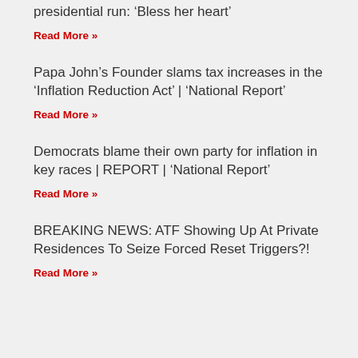presidential run: ‘Bless her heart’
Read More »
Papa John’s Founder slams tax increases in the ‘Inflation Reduction Act’ | ‘National Report’
Read More »
Democrats blame their own party for inflation in key races | REPORT | ‘National Report’
Read More »
BREAKING NEWS: ATF Showing Up At Private Residences To Seize Forced Reset Triggers?!
Read More »